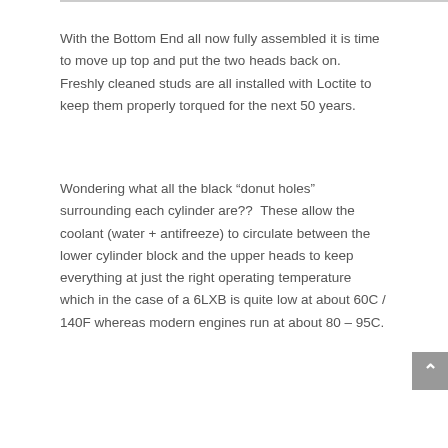With the Bottom End all now fully assembled it is time to move up top and put the two heads back on. Freshly cleaned studs are all installed with Loctite to keep them properly torqued for the next 50 years.
Wondering what all the black “donut holes” surrounding each cylinder are??  These allow the coolant (water + antifreeze) to circulate between the lower cylinder block and the upper heads to keep everything at just the right operating temperature which in the case of a 6LXB is quite low at about 60C / 140F whereas modern engines run at about 80 – 95C.